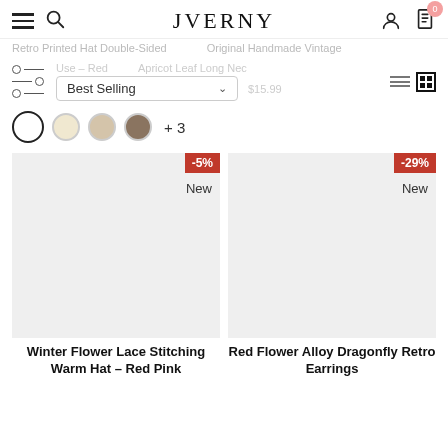JVERNY
Retro Printed Hat Double-Sided Use – Red  $20.25  $15.98
Original Handmade Vintage Apricot Leaf Long Nec…  $15.99
Best Selling
+ 3
[Figure (screenshot): Product card: Winter Flower Lace Stitching Warm Hat – Red Pink, with -5% badge and New label]
Winter Flower Lace Stitching Warm Hat – Red Pink
[Figure (screenshot): Product card: Red Flower Alloy Dragonfly Retro Earrings, with -29% badge and New label]
Red Flower Alloy Dragonfly Retro Earrings